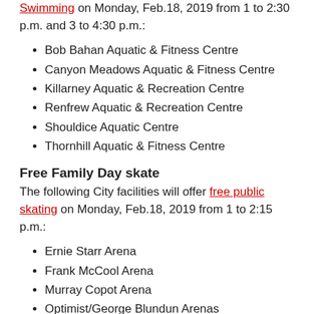Swimming on Monday, Feb.18, 2019 from 1 to 2:30 p.m. and 3 to 4:30 p.m.:
Bob Bahan Aquatic & Fitness Centre
Canyon Meadows Aquatic & Fitness Centre
Killarney Aquatic & Recreation Centre
Renfrew Aquatic & Recreation Centre
Shouldice Aquatic Centre
Thornhill Aquatic & Fitness Centre
Free Family Day skate
The following City facilities will offer free public skating on Monday, Feb.18, 2019 from 1 to 2:15 p.m.:
Ernie Starr Arena
Frank McCool Arena
Murray Copot Arena
Optimist/George Blundun Arenas
Rose Kohn/Jimmie Condon Arenas